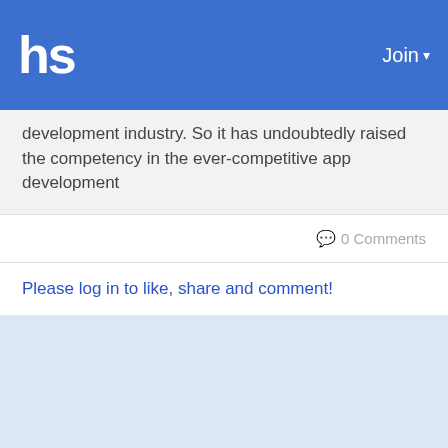hs  Join
development industry. So it has undoubtedly raised the competency in the ever-competitive app development
0 Comments
Please log in to like, share and comment!